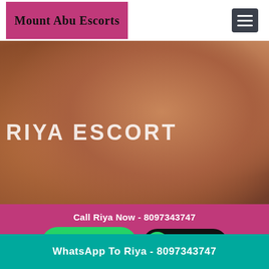Mount Abu Escorts
[Figure (photo): Background photo of a woman, partially visible torso with the text RIYA ESCORT overlaid in white capital letters]
RIYA ESCORT
Call Riya Now - 8097343747
Whatsapp click to chat
Click here.
WhatsApp To Riya - 8097343747